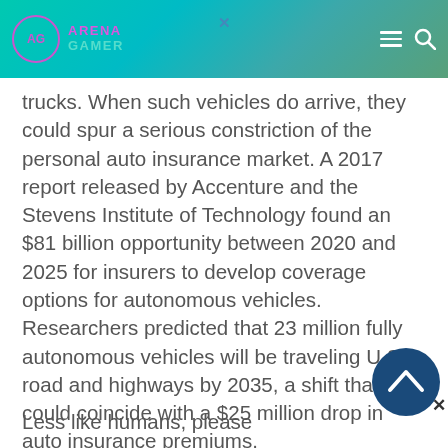Arena Gamer [logo with navigation hamburger and search icons]
trucks. When such vehicles do arrive, they could spur a serious constriction of the personal auto insurance market. A 2017 report released by Accenture and the Stevens Institute of Technology found an $81 billion opportunity between 2020 and 2025 for insurers to develop coverage options for autonomous vehicles. Researchers predicted that 23 million fully autonomous vehicles will be traveling U.S. road and highways by 2035, a shift that could coincide with a $25 million drop in auto insurance premiums.
Less like humans, please